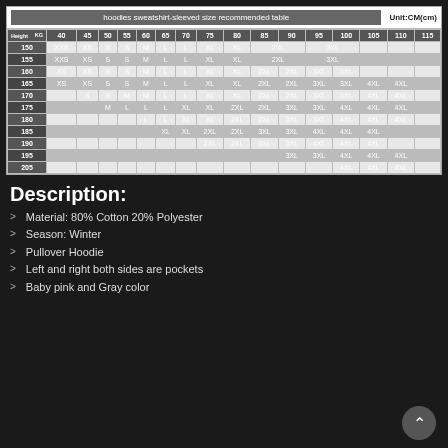| Height/KG | 40 | 45 | 50 | 55 | 60 | 65 | 70 | 75 | 80 | 85 | 90 | 95 | 100 | 105 | 110 | 115 |
| --- | --- | --- | --- | --- | --- | --- | --- | --- | --- | --- | --- | --- | --- | --- | --- | --- |
| 150 | XXS | XS | S | S | M | L | L | XL | XL | 2XL |  | 3XL |  |  |  |  |
| 155 | XXS | XS | S | S | M | L | L | XL | XL | 2XL |  | 3XL |  |  |  |  |
| 160 | XS | XS | S | S | M | L | L | XL | XL | 2XL | 2XL | 3XL | 3XL |  |  |  |
| 165 | XS | XS | S | S | M | L | L | XL | XL | 2XL | 2XL | 3XL | 3XL | 4XL | 4XL |  |
| 170 |  | S | S | M | M | L | L | XL | XL | 2XL | 2XL | 3XL | 3XL | 4XL | 4XL |  |
| 175 |  |  | M | L | L | L | XL | XL | 2XL | 2XL | 3XL | 3XL | 4XL | 4XL | 4XL |  |
| 180 |  |  |  |  | L | L | XL | XL | 2XL | 2XL | 3XL | 3XL | 4XL | 4XL | 4XL |  |
| 185 |  |  |  |  |  | XL | XL | 2XL | 2XL | 3XL | 3XL | 4XL | 4XL | 4XL |  |
| 190 |  |  |  |  |  |  |  | 2XL | 2XL | 3XL | 3XL | 4XL | 4XL | 4XL |
| 195 |  |  |  |  |  |  |  |  |  |  | 3XL | 3XL | 4XL | 4XL | 4XL |
| 205 |  |  |  |  |  |  |  |  |  |  |  |  | 4XL | 4XL | 4XL |
Description:
Material: 80% Cotton 20% Polyester
Season: Winter
Pullover Hoodie
Left and right both sides are pockets
Baby pink and Gray color